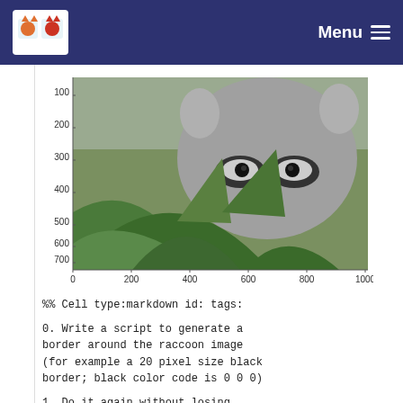Menu
[Figure (photo): A raccoon image displayed with matplotlib-style axes. Y-axis shows values 100, 200, 300, 400, 500, 600, 700. X-axis shows values 0, 200, 400, 600, 800, 1000.]
%% Cell type:markdown id: tags:
0. Write a script to generate a border around the raccoon image (for example a 20 pixel size black border; black color code is 0 0 0)
1. Do it again without losing pixels and generate then a raccoon1 array/image